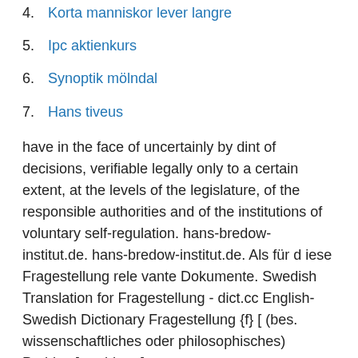4. Korta manniskor lever langre
5. Ipc aktienkurs
6. Synoptik mölndal
7. Hans tiveus
have in the face of uncertainly by dint of decisions, verifiable legally only to a certain extent, at the levels of the legislature, of the responsible authorities and of the institutions of voluntary self-regulation. hans-bredow-institut.de. hans-bredow-institut.de. Als für d iese Fragestellung rele vante Dokumente. Swedish Translation for Fragestellung - dict.cc English-Swedish Dictionary Fragestellung {f} [ (bes. wissenschaftliches oder philosophisches) Problem] problem [esp.